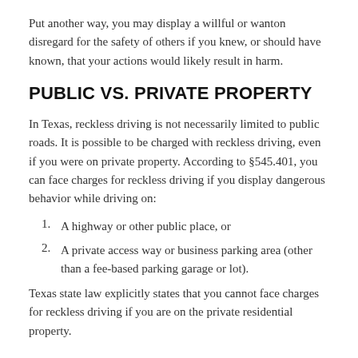Put another way, you may display a willful or wanton disregard for the safety of others if you knew, or should have known, that your actions would likely result in harm.
PUBLIC VS. PRIVATE PROPERTY
In Texas, reckless driving is not necessarily limited to public roads. It is possible to be charged with reckless driving, even if you were on private property. According to §545.401, you can face charges for reckless driving if you display dangerous behavior while driving on:
1. A highway or other public place, or
2. A private access way or business parking area (other than a fee-based parking garage or lot).
Texas state law explicitly states that you cannot face charges for reckless driving if you are on the private residential property.